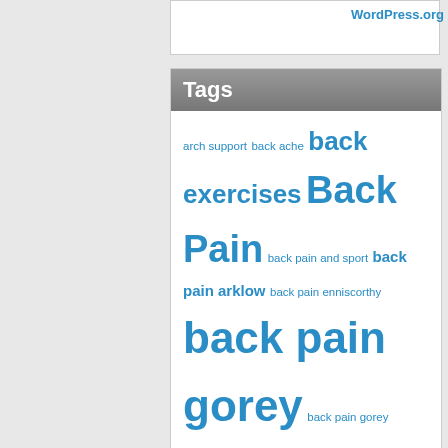WordPress.org
Tags
arch support back ache back exercises Back Pain back pain and sport back pain arklow back pain enniscorthy back pain gorey back pain gorey wexford back pain management wexford Back Pain Treatment Arklow Back Pain Treatment Carlow back pain treatment Enniscorthy back pain